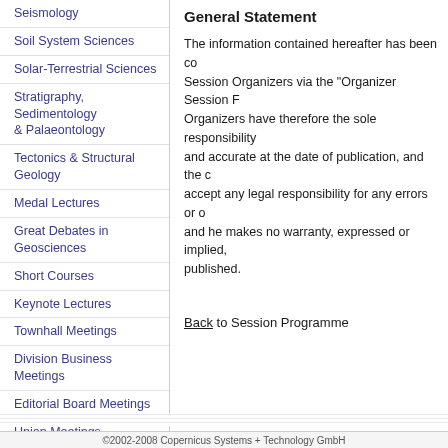Seismology
Soil System Sciences
Solar-Terrestrial Sciences
Stratigraphy, Sedimentology & Palaeontology
Tectonics & Structural Geology
Medal Lectures
Great Debates in Geosciences
Short Courses
Keynote Lectures
Townhall Meetings
Division Business Meetings
Editorial Board Meetings
Union Meetings
Splinter Meetings
General Statement
The information contained hereafter has been compiled and uploaded by the Session Organizers via the "Organizer Session Forms". The Organizers have therefore the sole responsibility to ensure that the content is complete and accurate at the date of publication, and the corresponding organizers cannot accept any legal responsibility for any errors or omissions, and they make and he makes no warranty, expressed or implied, with regard to the information published.
Back to Session Programme
©2002-2008 Copernicus Systems + Technology GmbH